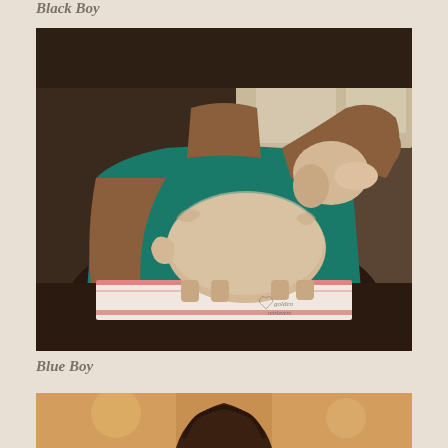Black Boy
[Figure (photo): A woman in a teal tank top holding up a small cream/golden colored puppy by its head while it stands on a striped towel on a dark table. The puppy is viewed from the side in a stacking pose. A watermark with a heart and cursive text is visible in the lower right corner of the photo.]
Blue Boy
[Figure (photo): Partial view of another photo at the bottom of the page, showing the top portion of a person's head with curly hair against a warm-toned background, likely another puppy photo.]